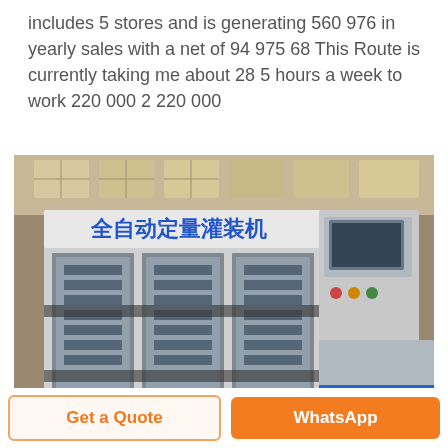includes 5 stores and is generating 560 976 in yearly sales with a net of 94 975 68 This Route is currently taking me about 28 5 hours a week to work 220 000 2 220 000
[Figure (photo): Industrial automatic filling machine (全自动定量灌装机) in a factory warehouse setting. Large stainless steel machine with multiple glass-door chambers and a control panel on the right side.]
Get a Quote
WhatsApp